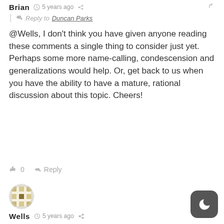Brian  5 years ago  [share] [link]
Reply to Duncan Parks
@Wells, I don't think you have given anyone reading these comments a single thing to consider just yet. Perhaps some more name-calling, condescension and generalizations would help. Or, get back to us when you have the ability to have a mature, rational discussion about this topic. Cheers!
👍 0   ➜ Reply
[Figure (illustration): Avatar icon - decorative pattern in circle]
Wells  5 years ago  [share] [link]
Reply to Duncan Parks
Brian, I specifically attacked mountain bikers who indeed recklessly destroy natural environs (by cutting unauthorized trails) and who...